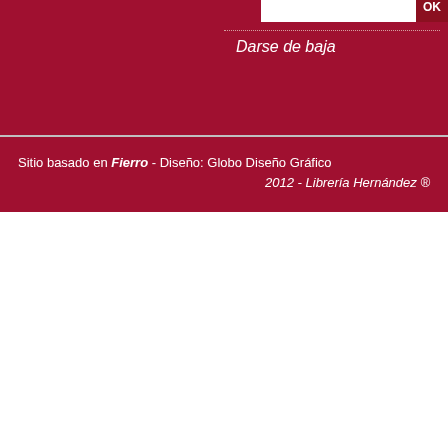Darse de baja
Sitio basado en Fierro - Diseño: Globo Diseño Gráfico 2012 - Librería Hernández ®